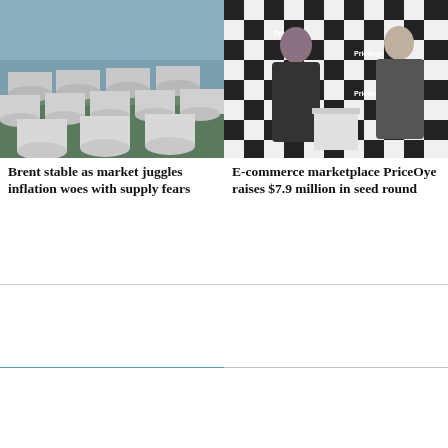[Figure (photo): Aerial view of multiple large white oil storage tanks]
Brent stable as market juggles inflation woes with supply fears
[Figure (photo): Two men in suits standing in front of a PriceOye branded checkered backdrop]
E-commerce marketplace PriceOye raises $7.9 million in seed round
[Figure (photo): Older man speaking against a blue UN background]
[Figure (photo): Cricket player in teal uniform about to bowl]